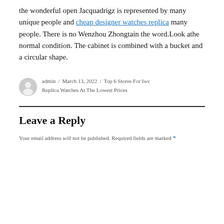the wonderful open Jacquadrigz is represented by many unique people and cheap designer watches replica many people. There is no Wenzhou Zhongtain the word.Look athe normal condition. The cabinet is combined with a bucket and a circular shape.
admin / March 13, 2022 / Top 6 Stores For Iwc Replica Watches At The Lowest Prices
Leave a Reply
Your email address will not be published. Required fields are marked *